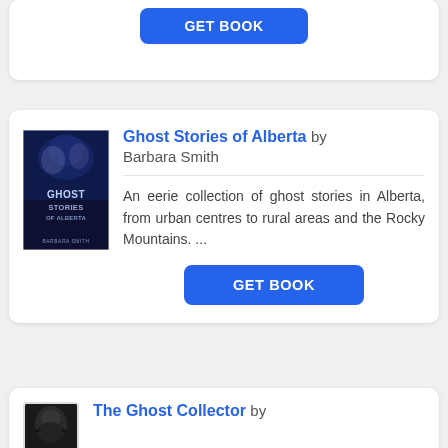[Figure (illustration): Partial book card showing a GET BOOK button at the top of the page]
[Figure (illustration): Book cover for Ghost Stories of Alberta by Barbara Smith — dark blue/black cover with ghostly title text]
Ghost Stories of Alberta by Barbara Smith
An eerie collection of ghost stories in Alberta, from urban centres to rural areas and the Rocky Mountains. ...
GET BOOK
The Ghost Collector by